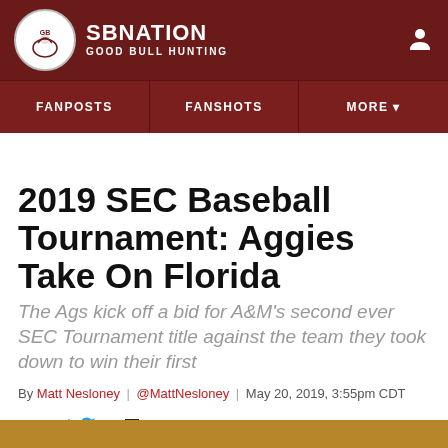SBNation — GOOD BULL HUNTING
FANPOSTS | FANSHOTS | MORE
2019 SEC Baseball Tournament: Aggies Take On Florida
The Ags kick off a bid for A&M's second ever SEC Tournament title against the team they took down to win their first
By Matt Nesloney | @MattNesloney | May 20, 2019, 3:55pm CDT